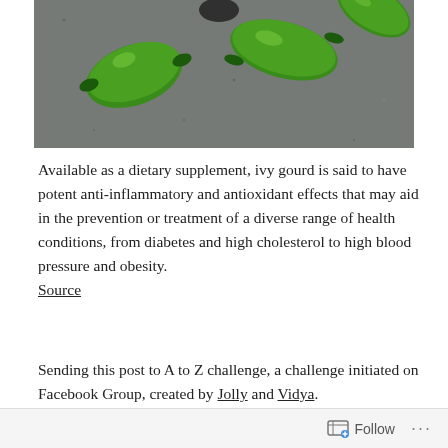[Figure (photo): Close-up photo of green ivy gourds on a dark grey stone surface]
Available as a dietary supplement, ivy gourd is said to have potent anti-inflammatory and antioxidant effects that may aid in the prevention or treatment of a diverse range of health conditions, from diabetes and high cholesterol to high blood pressure and obesity.
Source
Sending this post to A to Z challenge, a challenge initiated on Facebook Group, created by Jolly and Vidya.
Follow ...